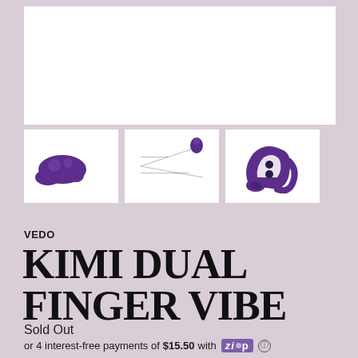[Figure (photo): Large white product image area (main product view of purple finger vibe, cropped/white)]
[Figure (photo): Thumbnail 1: Purple finger vibe product side view on white background]
[Figure (photo): Thumbnail 2: Product dimensions/schematic diagram with measurements on white background]
[Figure (photo): Thumbnail 3: Purple finger vibe close-up angled view on white background]
VEDO
KIMI DUAL FINGER VIBE
Sold Out
or 4 interest-free payments of $15.50 with ZIP ⓘ